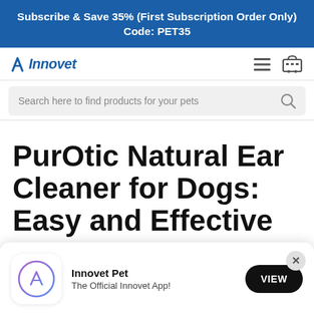Subscribe & Save 35% (First Subscription Order Only) Code: PET35
[Figure (logo): Innovet logo with hamburger menu and shopping cart icons]
Search here to find products for your pets
PurOtic Natural Ear Cleaner for Dogs: Easy and Effective
[Figure (screenshot): App download popup: Innovet Pet - The Official Innovet App! with VIEW button]